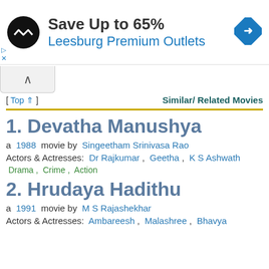[Figure (screenshot): Advertisement banner for Leesburg Premium Outlets with logo and navigation icon]
[ Top ↑ ]
Similar/ Related Movies
1.  Devatha Manushya
a  1988  movie by  Singeetham Srinivasa Rao
Actors & Actresses:  Dr Rajkumar ,  Geetha ,  K S Ashwath
Drama ,  Crime ,  Action
2.  Hrudaya Hadithu
a  1991  movie by  M S Rajashekhar
Actors & Actresses:  Ambareesh ,  Malashree ,  Bhavya